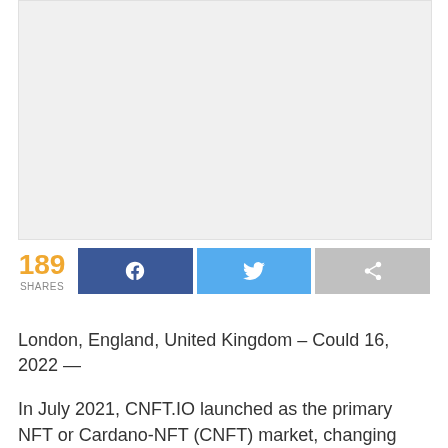[Figure (other): Placeholder image area with light gray background]
189 SHARES
London, England, United Kingdom – Could 16, 2022 —
In July 2021, CNFT.IO launched as the primary NFT or Cardano-NFT (CNFT) market, changing Discord-based